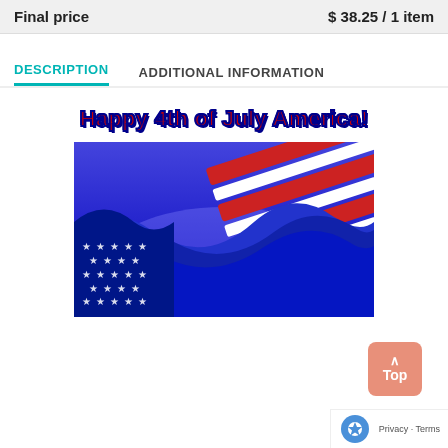Final price   $ 38.25 / 1 item
DESCRIPTION
ADDITIONAL INFORMATION
[Figure (illustration): Happy 4th of July America! banner with American flag wave illustration — bold red text with dark blue outline on top, and a wavy American flag graphic with stars and red/white stripes on a blue background below.]